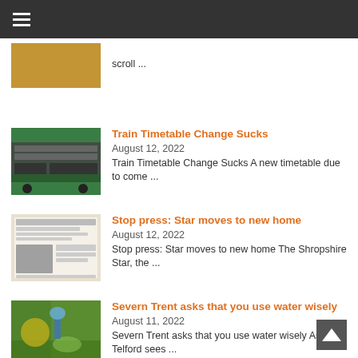Navigation menu
scroll ...
Train Timetable Change Sucks
August 12, 2022
Train Timetable Change Sucks A new timetable due to come ...
Stop press: Star moves to new home
August 12, 2022
Stop press: Star moves to new home The Shropshire Star, the ...
Severn Trent asks that you use water wisely
August 11, 2022
Severn Trent asks that you use water wisely As Telford sees ...